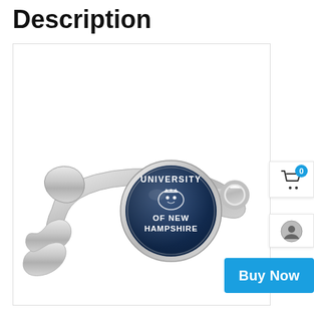Description
[Figure (photo): A silver metal bottle opener keychain with a round navy blue medallion showing the University of New Hampshire logo and text 'UNIVERSITY OF NEW HAMPSHIRE' in white letters, with a wildcat mascot graphic. The keychain ring is visible on the right side.]